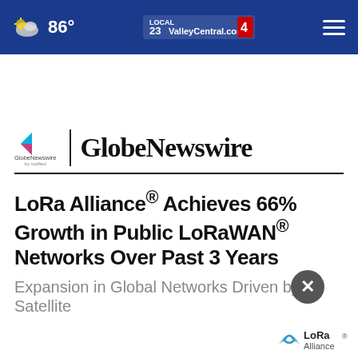86° ValleyCentral.com
[Figure (logo): GlobeNewswire by notified logo with play icon and GlobeNewswire text]
LoRa Alliance® Achieves 66% Growth in Public LoRaWAN® Networks Over Past 3 Years
Expansion in Global Networks Driven by Satellite
[Figure (logo): LoRa Alliance logo bottom right]